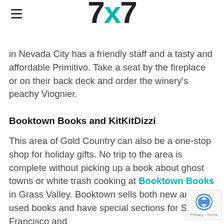7x7 logo and hamburger menu
in Nevada City has a friendly staff and a tasty and affordable Primitivo. Take a seat by the fireplace or on their back deck and order the winery's peachy Viognier.
Booktown Books and KitKitDizzi
This area of Gold Country can also be a one-stop shop for holiday gifts. No trip to the area is complete without picking up a book about ghost towns or white trash cooking at Booktown Books in Grass Valley. Booktown sells both new and used books and have special sections for San Francisco and